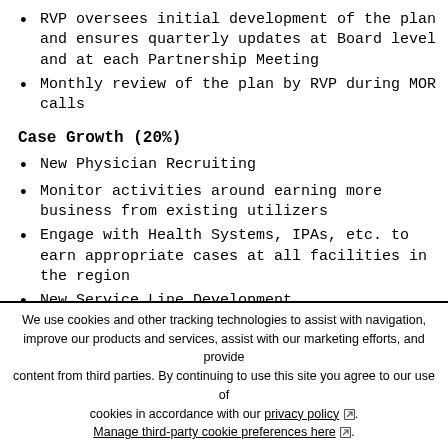RVP oversees initial development of the plan and ensures quarterly updates at Board level and at each Partnership Meeting
Monthly review of the plan by RVP during MOR calls
Case Growth (20%)
New Physician Recruiting
Monitor activities around earning more business from existing utilizers
Engage with Health Systems, IPAs, etc. to earn appropriate cases at all facilities in the region
New Service Line Development
Leadership Development with Administrators/CEOs
We use cookies and other tracking technologies to assist with navigation, improve our products and services, assist with our marketing efforts, and provide content from third parties. By continuing to use this site you agree to our use of cookies in accordance with our privacy policy. Manage third-party cookie preferences here.